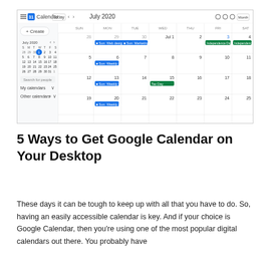[Figure (screenshot): Google Calendar screenshot showing July 2020 month view with events including Web design week, Marketing call, Independence Day, Tax Day, and Weekly team upd recurring events.]
5 Ways to Get Google Calendar on Your Desktop
These days it can be tough to keep up with all that you have to do. So, having an easily accessible calendar is key. And if your choice is Google Calendar, then you're using one of the most popular digital calendars out there. You probably have